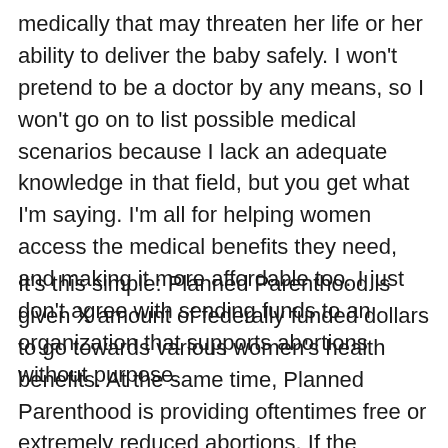medically that may threaten her life or her ability to deliver the baby safely. I won't pretend to be a doctor by any means, so I won't go on to list possible medical scenarios because I lack an adequate knowledge in that field, but you get what I'm saying. I'm all for helping women access the medical benefits they need, and making it more affordable too. I just don't agree with sending funds to an organization that supports abortions without purpose.
It's this simple: Planned Parenthood is given X amount of federally funded dollars to go towards various women's health benefits. At the same time, Planned Parenthood is providing oftentimes free or extremely reduced abortions. If the abortions are either free or greatly reduced, how do they pay their doctors? They